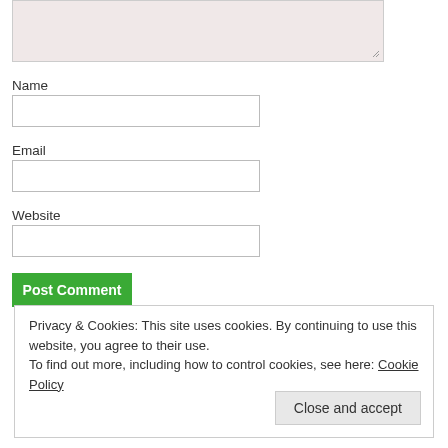[Figure (screenshot): A pinkish-beige textarea input box (partially cropped at top) with a resize handle at bottom-right corner]
Name
[Figure (screenshot): Empty text input field for Name]
Email
[Figure (screenshot): Empty text input field for Email]
Website
[Figure (screenshot): Empty text input field for Website]
[Figure (screenshot): Green 'Post Comment' button]
Privacy & Cookies: This site uses cookies. By continuing to use this website, you agree to their use.
To find out more, including how to control cookies, see here: Cookie Policy
Close and accept